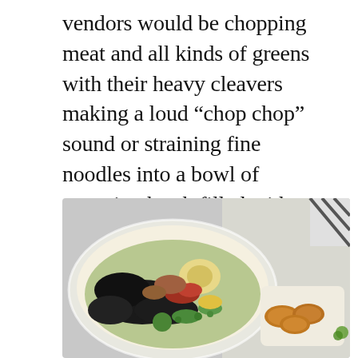vendors would be chopping meat and all kinds of greens with their heavy cleavers making a loud “chop chop” sound or straining fine noodles into a bowl of steaming broth filled with morning glory and beef. All of the aromas filled my senses and I struggled to settle on a place, yet finally did.
[Figure (photo): A bowl of noodle soup with dark seaweed, vegetables, an egg, corn, and minced toppings on the left, and a small tray of fried snacks on the right, on a bright table surface.]